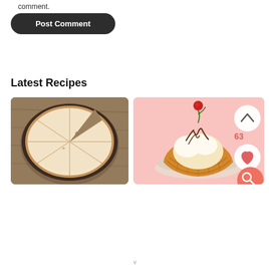comment.
Post Comment
Latest Recipes
[Figure (photo): A sliced cheesecake on a wooden background, viewed from above, showing wedge-cut slices on a round plate.]
[Figure (photo): A waffle dessert bowl topped with whipped cream, chocolate drizzle, and a cherry, on a pink background with UI icons: up arrow (63 count), heart, and search buttons.]